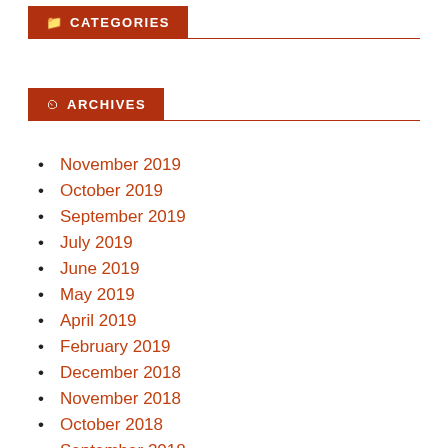CATEGORIES
ARCHIVES
November 2019
October 2019
September 2019
July 2019
June 2019
May 2019
April 2019
February 2019
December 2018
November 2018
October 2018
September 2018